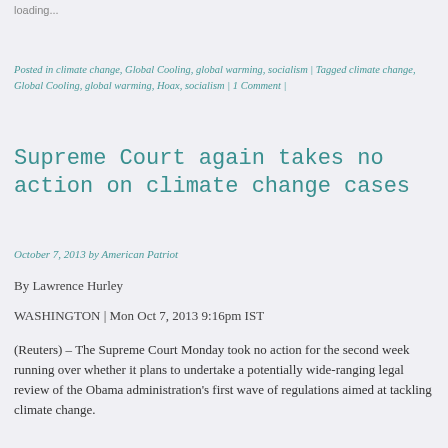loading...
Posted in climate change, Global Cooling, global warming, socialism | Tagged climate change, Global Cooling, global warming, Hoax, socialism | 1 Comment |
Supreme Court again takes no action on climate change cases
October 7, 2013 by American Patriot
By Lawrence Hurley
WASHINGTON | Mon Oct 7, 2013 9:16pm IST
(Reuters) – The Supreme Court Monday took no action for the second week running over whether it plans to undertake a potentially wide-ranging legal review of the Obama administration's first wave of regulations aimed at tackling climate change.